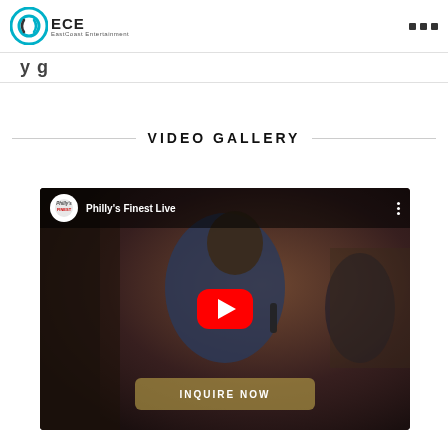ECE EastCoast Entertainment
VIDEO GALLERY
[Figure (screenshot): YouTube video embed thumbnail showing a live performance by Philly's Finest Live, with a singer holding a microphone on stage, red YouTube play button overlay, and an 'INQUIRE NOW' button at the bottom.]